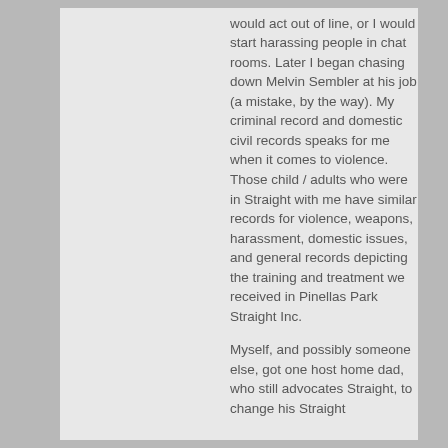would act out of line, or I would start harassing people in chat rooms. Later I began chasing down Melvin Sembler at his job (a mistake, by the way). My criminal record and domestic civil records speaks for me when it comes to violence. Those child / adults who were in Straight with me have similar records for violence, weapons, harassment, domestic issues, and general records depicting the training and treatment we received in Pinellas Park Straight Inc.
Myself, and possibly someone else, got one host home dad, who still advocates Straight, to change his Straight